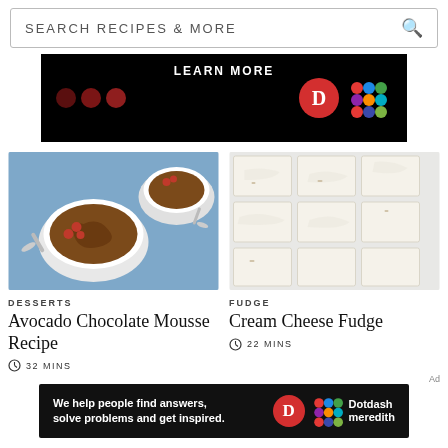SEARCH RECIPES & MORE
[Figure (photo): Advertisement banner with dark background, colored circles and Dotdash Meredith logos, LEARN MORE text]
[Figure (photo): Avocado Chocolate Mousse Recipe - overhead shot of chocolate mousse in white ramekins with raspberries on blue background]
DESSERTS
Avocado Chocolate Mousse Recipe
32 MINS
[Figure (photo): Cream Cheese Fudge - overhead shot of white frosted fudge squares arranged on marble surface]
FUDGE
Cream Cheese Fudge
22 MINS
Ad
[Figure (photo): Dotdash Meredith advertisement: We help people find answers, solve problems and get inspired. With D logo and colorful grid logo.]